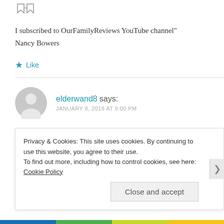[Figure (illustration): Two small grey arrow/bookmark icons at the top left]
I subscribed to OurFamilyReviews YouTube channel"
Nancy Bowers
★ Like
elderwand8 says:
JANUARY 8, 2018 AT 9:00 PM
I followed the Young Scientists Club on Twitter!
@elderwand461
Privacy & Cookies: This site uses cookies. By continuing to use this website, you agree to their use.
To find out more, including how to control cookies, see here: Cookie Policy
Close and accept